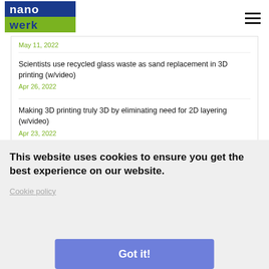nanowerk
May 11, 2022
Scientists use recycled glass waste as sand replacement in 3D printing (w/video)
Apr 26, 2022
Making 3D printing truly 3D by eliminating need for 2D layering (w/video)
Apr 23, 2022
WS
us | ubmit
werk.
All Rights Reserved.
This website uses cookies to ensure you get the best experience on our website.
Cookie policy
Got it!